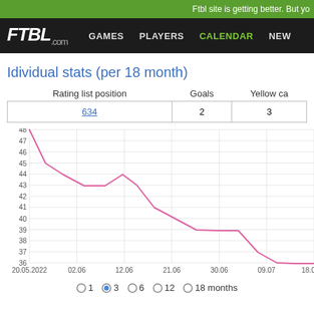Ftbl site is getting better. But yo
[Figure (logo): FTBL.com logo with navigation: GAMES, PLAYERS, CALENDAR, NEW]
Idividual stats (per 18 month)
| Rating list position | Goals | Yellow ca |
| --- | --- | --- |
| 634 | 2 | 3 |
[Figure (line-chart): Rating over time]
1   3   6   12   18 months